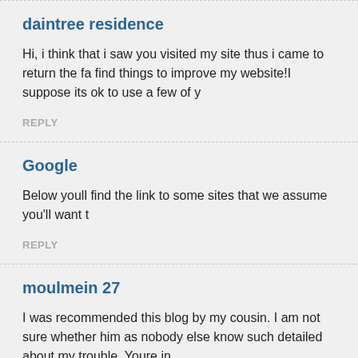daintree residence
Hi, i think that i saw you visited my site thus i came to return the fa find things to improve my website!I suppose its ok to use a few of y
REPLY
Google
Below youll find the link to some sites that we assume you'll want t
REPLY
moulmein 27
I was recommended this blog by my cousin. I am not sure whether him as nobody else know such detailed about my trouble. Youre in